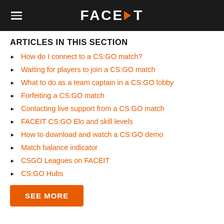FACEIT
ARTICLES IN THIS SECTION
How do I connect to a CS:GO match?
Waiting for players to join a CS:GO match
What to do as a team captain in a CS:GO lobby
Forfeiting a CS:GO match
Contacting live support from a CS:GO match
FACEIT CS:GO Elo and skill levels
How to download and watch a CS:GO demo
Match balance indicator
CSGO Leagues on FACEIT
CS:GO Hubs
SEE MORE